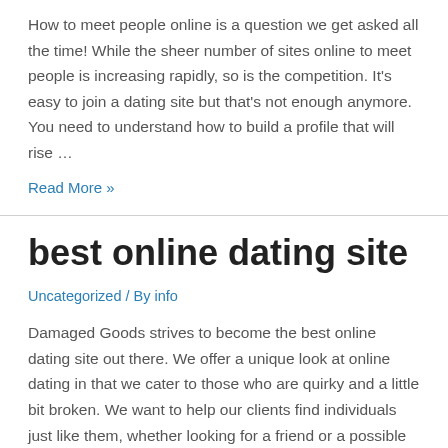How to meet people online is a question we get asked all the time! While the sheer number of sites online to meet people is increasing rapidly, so is the competition. It's easy to join a dating site but that's not enough anymore. You need to understand how to build a profile that will rise …
Read More »
best online dating site
Uncategorized / By info
Damaged Goods strives to become the best online dating site out there. We offer a unique look at online dating in that we cater to those who are quirky and a little bit broken. We want to help our clients find individuals just like them, whether looking for a friend or a possible date. There …
Read More »